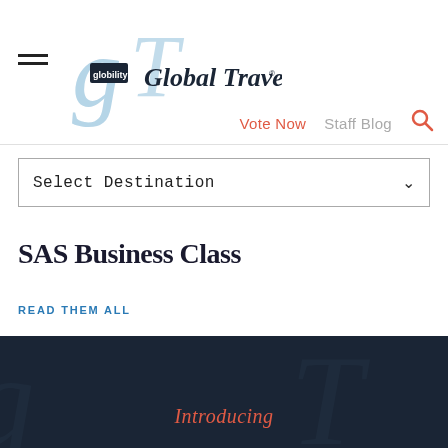[Figure (logo): Global Traveler magazine logo with stylized GT letters and wordmark 'Global Traveler']
Vote Now   Staff Blog
Select Destination
SAS Business Class
READ THEM ALL
Introducing